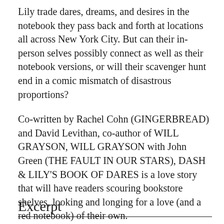Lily trade dares, dreams, and desires in the notebook they pass back and forth at locations all across New York City. But can their in-person selves possibly connect as well as their notebook versions, or will their scavenger hunt end in a comic mismatch of disastrous proportions?
Co-written by Rachel Cohn (GINGERBREAD) and David Levithan, co-author of WILL GRAYSON, WILL GRAYSON with John Green (THE FAULT IN OUR STARS), DASH & LILY'S BOOK OF DARES is a love story that will have readers scouring bookstore shelves, looking and longing for a love (and a red notebook) of their own.
Excerpt